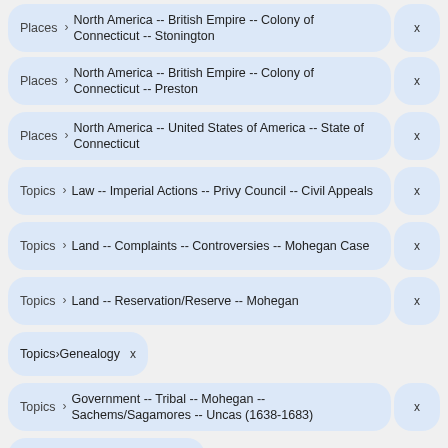Places > North America -- British Empire -- Colony of Connecticut -- Stonington
Places > North America -- British Empire -- Colony of Connecticut -- Preston
Places > North America -- United States of America -- State of Connecticut
Topics > Law -- Imperial Actions -- Privy Council -- Civil Appeals
Topics > Land -- Complaints -- Controversies -- Mohegan Case
Topics > Land -- Reservation/Reserve -- Mohegan
Topics > Genealogy
Topics > Government -- Tribal -- Mohegan -- Sachems/Sagamores -- Uncas (1638-1683)
Topics > Culture -- Inheritance